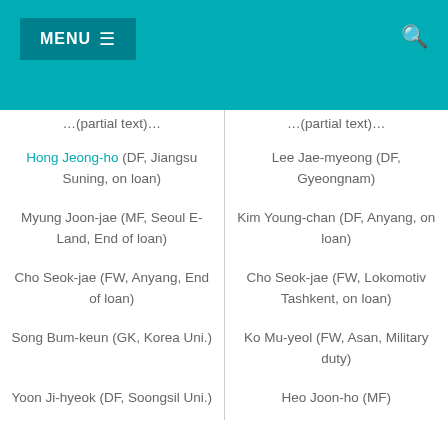MENU ☰
| (left column) | (right column) |
| --- | --- |
| Hong Jeong-ho (DF, Jiangsu Suning, on loan) | Lee Jae-myeong (DF, Gyeongnam) |
| Myung Joon-jae (MF, Seoul E-Land, End of loan) | Kim Young-chan (DF, Anyang, on loan) |
| Cho Seok-jae (FW, Anyang, End of loan) | Cho Seok-jae (FW, Lokomotiv Tashkent, on loan) |
| Song Bum-keun (GK, Korea Uni.) | Ko Mu-yeol (FW, Asan, Military duty) |
| Yoon Ji-hyeok (DF, Soongsil Uni.) | Heo Joon-ho (MF) |
| Jeong Ho-young (FW, Jeonju Uni.) | Myung Joon-jae (FW) |
| Na Sung-eun (FW, Suwon Uni.) | Ong Dong-kyun (DF) |